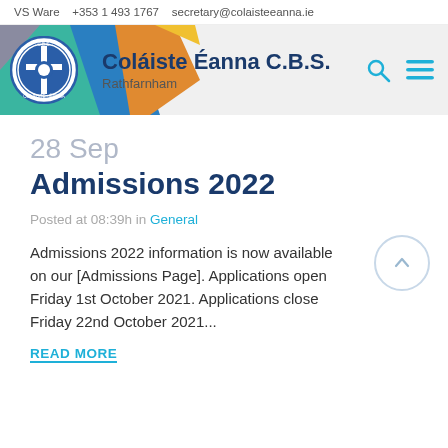VS Ware  +353 1 493 1767  secretary@colaisteeanna.ie
[Figure (logo): Coláiste Éanna C.B.S. school banner with logo, diagonal color shapes, school name, and navigation icons]
28 Sep
Admissions 2022
Posted at 08:39h in General
Admissions 2022 information is now available on our [Admissions Page]. Applications open Friday 1st October 2021. Applications close Friday 22nd October 2021...
READ MORE